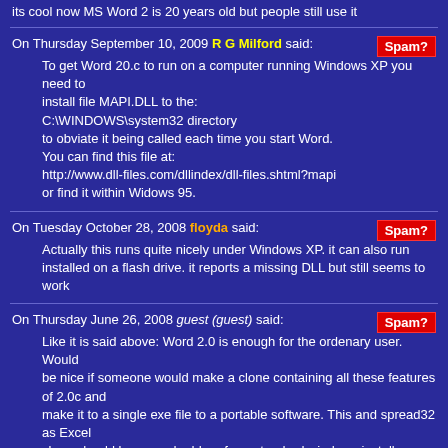its cool now MS Word 2 is 20 years old but people still use it
On Thursday September 10, 2009 R G Milford said:
To get Word 20.c to run on a computer running Windows XP you need to install file MAPI.DLL to the:
C:\WINDOWS\system32 directory
to obviate it being called each time you start Word.
You can find this file at:
http://www.dll-files.com/dllindex/dll-files.shtml?mapi
or find it within Widows 95.
On Tuesday October 28, 2008 floyda said:
Actually this runs quite nicely under Windows XP. it can also run installed on a flash drive. it reports a missing DLL but still seems to work
On Thursday June 26, 2008 guest (guest) said:
Like it is said above: Word 2.0 is enough for the ordenary user. Would be nice if someone would make a clone containing all these features of 2.0c and make it to a single exe file to a portable software. This and spread32 as Excel clone should be a good add-on for a standard windows install.
On Saturday May 26, 2007 abdul ahad (guest) said: